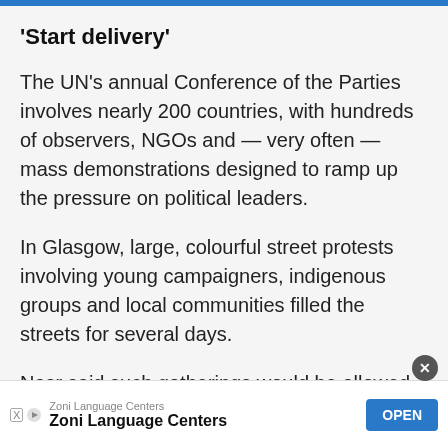‘Start delivery’
The UN’s annual Conference of the Parties involves nearly 200 countries, with hundreds of observers, NGOs and — very often — mass demonstrations designed to ramp up the pressure on political leaders.
In Glasgow, large, colourful street protests involving young campaigners, indigenous groups and local communities filled the streets for several days.
Nasr said such gatherings would be allowed around the conference in Egypt, which has outlawed demonstrations, although he said protesters would need to inform coordinators with authorities i…
Zoni Language Centers — Zoni Language Centers [Advertisement]